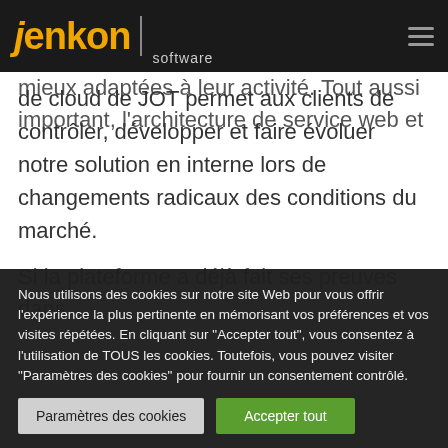jenkon | software
d'utiliser uniquement les fonctionnalités les mieux adaptées à leur activité. Tout aussi important, l'architecture de service web et de cloud de JOT permet aux clients de contrôler, développer et faire évoluer notre solution en interne lors de changements radicaux des conditions du marché.
Si la plateforme a déjà fait ses preuves dans
Nous utilisons des cookies sur notre site Web pour vous offrir l'expérience la plus pertinente en mémorisant vos préférences et vos visites répétées. En cliquant sur "Accepter tout", vous consentez à l'utilisation de TOUS les cookies. Toutefois, vous pouvez visiter "Paramètres des cookies" pour fournir un consentement contrôlé.